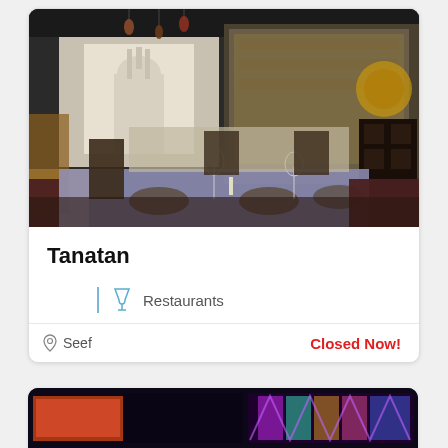[Figure (photo): Interior of Tanatan restaurant showing elegantly set tables with white/blue tablecloths, dark leather chairs, Moroccan-style hanging lanterns, and an open kitchen visible through glass in the background.]
Tanatan
Restaurants
Seef
Closed Now!
[Figure (photo): Dark interior of another venue with colorful LED lighting panels visible.]